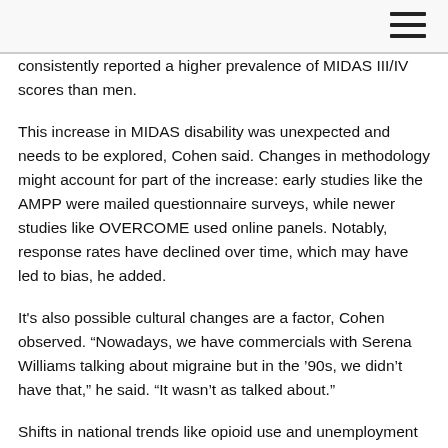consistently reported a higher prevalence of MIDAS III/IV scores than men.
This increase in MIDAS disability was unexpected and needs to be explored, Cohen said. Changes in methodology might account for part of the increase: early studies like the AMPP were mailed questionnaire surveys, while newer studies like OVERCOME used online panels. Notably, response rates have declined over time, which may have led to bias, he added.
It's also possible cultural changes are a factor, Cohen observed. “Nowadays, we have commercials with Serena Williams talking about migraine but in the '90s, we didn’t have that,” he said. “It wasn’t as talked about.”
Shifts in national trends like opioid use and unemployment also